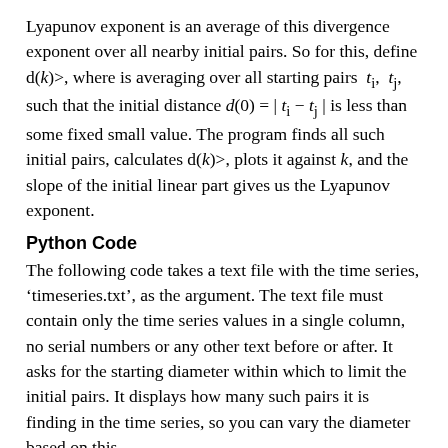Lyapunov exponent is an average of this divergence exponent over all nearby initial pairs. So for this, define d(k)>, where is averaging over all starting pairs t_i, t_j, such that the initial distance d(0) = | t_i − t_j | is less than some fixed small value. The program finds all such initial pairs, calculates d(k)>, plots it against k, and the slope of the initial linear part gives us the Lyapunov exponent.
Python Code
The following code takes a text file with the time series, 'timeseries.txt', as the argument. The text file must contain only the time series values in a single column, no serial numbers or any other text before or after. It asks for the starting diameter within which to limit the initial pairs. It displays how many such pairs it is finding in the time series, so you can vary the diameter based on this.